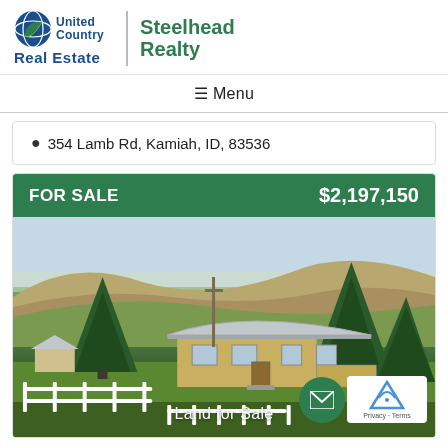[Figure (logo): United Country Real Estate | Steelhead Realty logo]
≡ Menu
354 Lamb Rd, Kamiah, ID, 83536
FOR SALE   $2,197,150
[Figure (photo): Aerial photo of a house with trees and green lawn, rolling hills in background. Shows a yellow/tan ranch-style house with white metal roof, surrounded by tall evergreen trees, white fencing, and green grass.]
Land for Sale